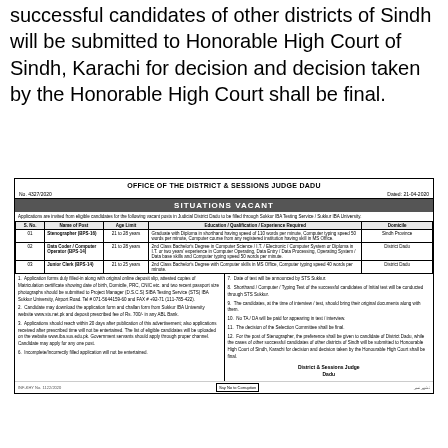successful candidates of other districts of Sindh will be submitted to Honorable High Court of Sindh, Karachi for decision and decision taken by the Honorable High Court shall be final.
OFFICE OF THE DISTRICT & SESSIONS JUDGE DADU
No. 4327/2020   Dated: 21-04-2020
SITUATIONS VACANT
Applications are invited from eligible candidates for the following vacant posts in Judicial District Dadu to be filled through Sukkur IBA Testing Service / Sukkur IBA University.
| S. No. | Name of Post | Age Limit | Education / Qualification / Experience Required | Domicile |
| --- | --- | --- | --- | --- |
| 01 | Stenographer (BPS-16) | 21 to 28 years | Graduate with Diploma in shorthand having speed of 110 words per minute, Computer typing speed 50 words per minute, Computer course from any registered institution having skill in MS Office. | Sindh Province |
| 02 | Data Coder / Computer Operator (BPS-14) | 21 to 28 years | 2nd Class Bachelor's Degree in Computer Science / I.T. / Electronic / Computer System or Diploma in I.T. or two years' experience in Computer Operating, Data Entry / Data Processing, Operating System / Data base skills and Computer typing speed 50 words per minute. | District Dadu |
| 03 | Junior Clerk (BPS-14) | 21 to 25 years | 2nd Class Bachelor's Degree with Computer skills in MS Office, Computer typing speed 40 words per minute. | District Dadu |
1. Application forms duly filled-in along with original online deposit slip, attested copies of Matriculation certificate showing date of birth, Domicile, PRC, CNIC etc. and two recent passport size photographs should be submitted to Project Manager (D.S.C.S) SIBA Testing Service (STS) IBA Sukkur University, Airport Road. Tel # 071-5644159-60 and FAX # +92-71 (111-785-422).
2. Candidate may download the application form and challan form from Sukkur IBA University website www.sts.net.pk and deposit prescribed fee of Rs. 700/- in any ABL Bank.
3. Applications should reach within 20 days after publication of this advertisement; also applications received after prescribed time will not be entertained. The list of eligible candidates will be uploaded on the website www.iba.sus.edu.pk. Government servants should apply through proper channel. Candidate may apply for any one post.
6. Incomplete/Incorrectly filled application will not be entertained.
7. Date of test will be announced by STS Sukkur.
8. Shorthand / Computer / Typing Test of the successful candidates of Initial test will be conducted through STS Sukkur.
9. The candidates, at the time of interview / test, should bring their original documents along with them.
10. No TA / DA will be paid for appearing in test / interview.
11. The decision of the Selection Committee shall be final.
12. For the post of Stenographer, the preference shall be given to candidate of District Dadu, while the cases of other successful candidates of other districts of Sindh will be submitted to Honourable High Court of Sindh, Karachi for decision and decision taken by the Honourable High Court shall be final.
District & Sessions Judge Dadu
INF-KHY No. 1122/2020  Say No to Corruption